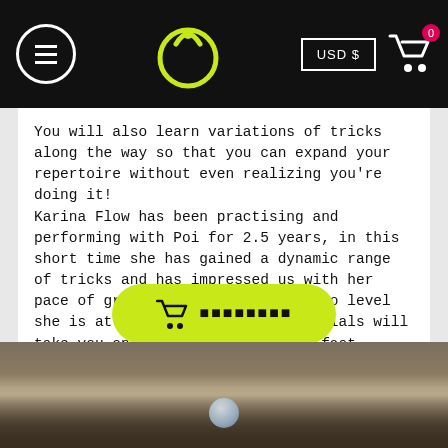Navigation bar with hamburger menu, logo, USD $ button, and cart icon showing 0 items
You will also learn variations of tricks along the way so that you can expand your repertoire without even realizing you're doing it!
Karina Flow has been practising and performing with Poi for 2.5 years, in this short time she has gained a dynamic range of tricks and has impressed us with her pace of growth in achieving the pro level she is at now. We hope these tutorials will take you on a similar journey of fast progression and satisfaction in learning the art of Poi.
[Figure (screenshot): Green add-to-cart button with cart icon and placeholder text (squares) representing button label]
[Figure (photo): Photo of a person outdoors near a brick wall, appears to be performing with poi]